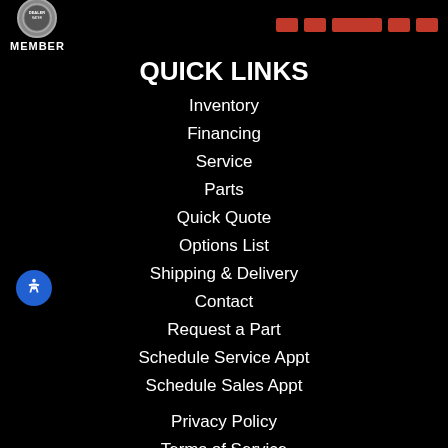[Figure (logo): Circular badge/seal above the word MEMBER]
QUICK LINKS
Inventory
Financing
Service
Parts
Quick Quote
Options List
Shipping & Delivery
Contact
Request a Part
Schedule Service Appt
Schedule Sales Appt
Privacy Policy
Terms of Service
Site Map
RSS